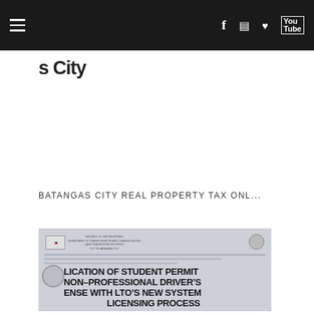Navigation bar with hamburger menu and social icons (Facebook, Instagram, Heart/Pinterest, YouTube)
a City
BATANGAS CITY REAL PROPERTY TAX ONL...
[Figure (photo): Photo of an LTO (Land Transportation Office) document/license card with overlaid text reading: APPLICATION OF STUDENT PERMIT / NON-PROFESSIONAL DRIVER'S LICENSE WITH LTO'S NEW SYSTEM LICENSING PROCESS]